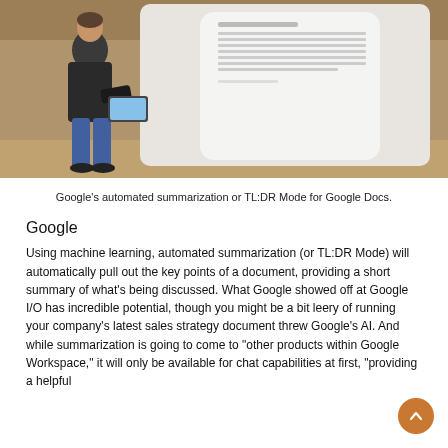[Figure (photo): A person standing on a stage in front of a large display screen showing a Google Docs document card with text about a team offsite, in an indoor venue with wooden architectural elements in the background.]
Google’s automated summarization or TL:DR Mode for Google Docs.
Google
Using machine learning, automated summarization (or TL:DR Mode) will automatically pull out the key points of a document, providing a short summary of what’s being discussed. What Google showed off at Google I/O has incredible potential, though you might be a bit leery of running your company’s latest sales strategy document threw Google’s AI. And while summarization is going to come to “other products within Google Workspace,” it will only be available for chat capabilities at first, “providing a helpful